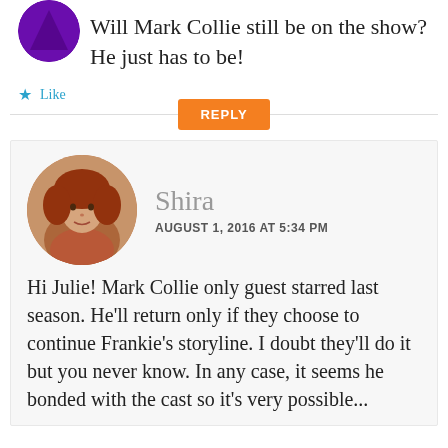Will Mark Collie still be on the show? He just has to be!
Like
REPLY
Shira
AUGUST 1, 2016 AT 5:34 PM
Hi Julie! Mark Collie only guest starred last season. He'll return only if they choose to continue Frankie's storyline. I doubt they'll do it but you never know. In any case, it seems he bonded with the cast so it's very possible...